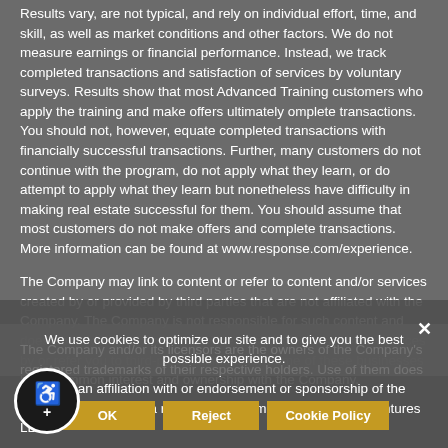Results vary, are not typical, and rely on individual effort, time, and skill, as well as market conditions and other factors. We do not measure earnings or financial performance. Instead, we track completed transactions and satisfaction of services by voluntary surveys. Results show that most Advanced Training customers who apply the training and make offers ultimately omplete transactions. You should not, however, equate completed transactions with financially successful transactions. Further, many customers do not continue with the program, do not apply what they learn, or do attempt to apply what they learn but nonetheless have difficulty in making real estate successful for them. You should assume that most customers do not make offers and complete transactions. More information can be found at www.response.com/experience.
The Company may link to content or refer to content and/or services created by or provided by third parties that are not affiliated with the Company. The Company is not responsible for such content and does not endorse or approve it. The Company may provide services by or refer you to third-party businesses. Some of these businesses have common interest and ownership with the Company.
The Company and/or its licensors are the owners of the Company's registered trademarks of their respective holders. Use of them does not imply an affiliation with or endorsement or sponsorship of the Company, Inc. 500 is a registered trademark of Mansueto Ventures LLC.